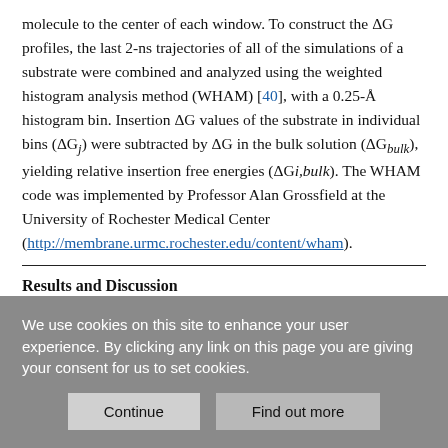molecule to the center of each window. To construct the ΔG profiles, the last 2-ns trajectories of all of the simulations of a substrate were combined and analyzed using the weighted histogram analysis method (WHAM) [40], with a 0.25-Å histogram bin. Insertion ΔG values of the substrate in individual bins (ΔGj) were subtracted by ΔG in the bulk solution (ΔGbulk), yielding relative insertion free energies (ΔGi,bulk). The WHAM code was implemented by Professor Alan Grossfield at the University of Rochester Medical Center (http://membrane.urmc.rochester.edu/content/wham).
Results and Discussion
We use cookies on this site to enhance your user experience. By clicking any link on this page you are giving your consent for us to set cookies.